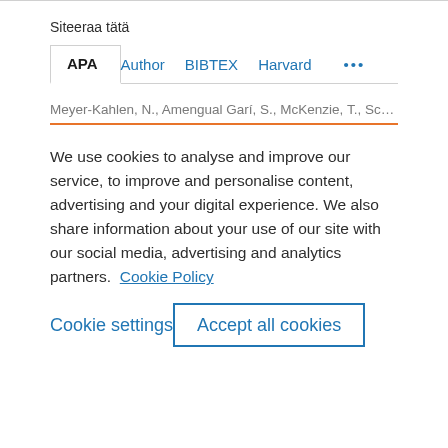Siteeraa tätä
APA | Author | BIBTEX | Harvard | ...
Meyer-Kahlen, N., Amengual Garí, S., McKenzie, T., Schlecht, S.,
We use cookies to analyse and improve our service, to improve and personalise content, advertising and your digital experience. We also share information about your use of our site with our social media, advertising and analytics partners.  Cookie Policy
Cookie settings
Accept all cookies